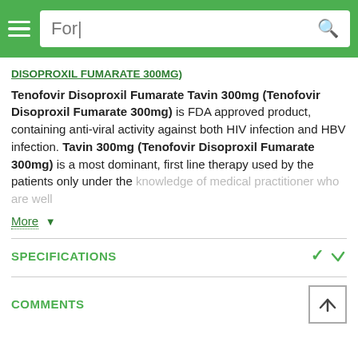Navigation bar with hamburger menu and search field showing 'For|'
DISOPROXIL FUMARATE 300MG)
Tenofovir Disoproxil Fumarate Tavin 300mg (Tenofovir Disoproxil Fumarate 300mg) is FDA approved product, containing anti-viral activity against both HIV infection and HBV infection. Tavin 300mg (Tenofovir Disoproxil Fumarate 300mg) is a most dominant, first line therapy used by the patients only under the knowledge of medical practitioner who are well
More ▾
SPECIFICATIONS
COMMENTS